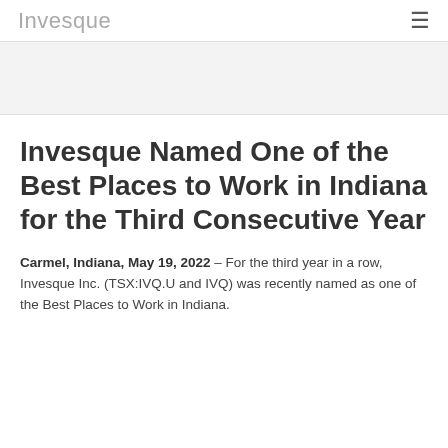Invesque
[Figure (other): Gray banner/hero image area]
Invesque Named One of the Best Places to Work in Indiana for the Third Consecutive Year
Carmel, Indiana, May 19, 2022 – For the third year in a row, Invesque Inc. (TSX:IVQ.U and IVQ) was recently named as one of the Best Places to Work in Indiana.